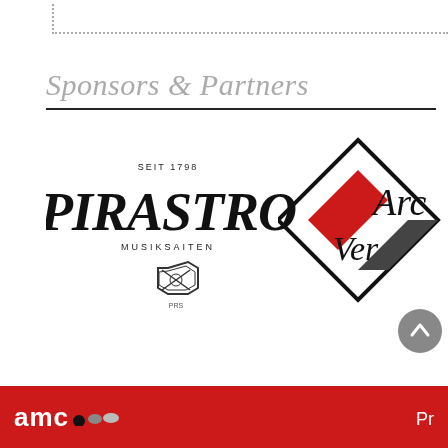Sponsors & Partners
[Figure (logo): Pirastro Musiksaiten logo — SEIT 1798, large stylized text PIRASTRO with MUSIKSAITEN below and an octagonal emblem]
[Figure (logo): Partial logo (Arc/Ver) — diamond/chevron shape in black and red, partially cropped on right side]
amc ... Pr